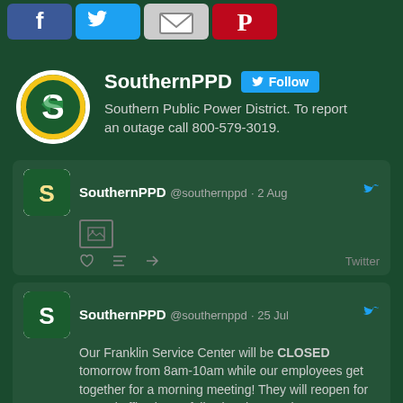[Figure (screenshot): Social media icons row: Facebook, Twitter, email/envelope, Pinterest at top of page]
[Figure (screenshot): SouthernPPD Twitter profile section with avatar logo, Follow button, and bio text: Southern Public Power District. To report an outage call 800-579-3019.]
SouthernPPD @southernppd · 2 Aug — tweet with image placeholder and Twitter action icons
SouthernPPD @southernppd · 25 Jul — Our Franklin Service Center will be CLOSED tomorrow from 8am-10am while our employees get together for a morning meeting! They will reopen for normal office hours following the meeting, 10-12pm and 1pm-5pm!